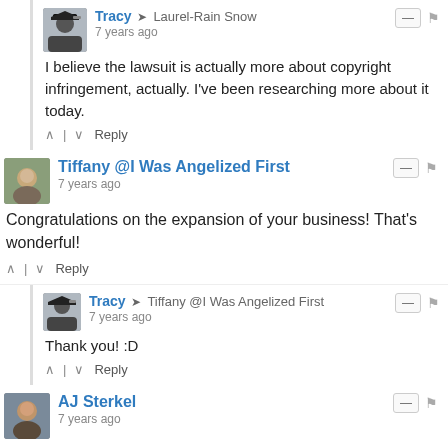Tracy → Laurel-Rain Snow
7 years ago
I believe the lawsuit is actually more about copyright infringement, actually. I've been researching more about it today.
Tiffany @I Was Angelized First
7 years ago
Congratulations on the expansion of your business! That's wonderful!
Tracy → Tiffany @I Was Angelized First
7 years ago
Thank you! :D
AJ Sterkel
7 years ago
Puppies! I would love to be a dog walker. I'm looking forward to